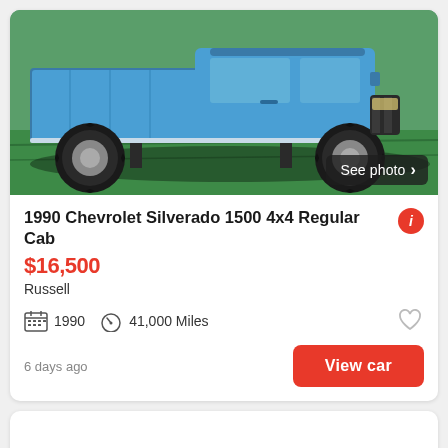[Figure (photo): Blue lifted 1990 Chevrolet Silverado 1500 4x4 truck with large off-road tires, parked on green grass. A 'See photo >' button overlay is visible in the bottom-right corner of the image.]
1990 Chevrolet Silverado 1500 4x4 Regular Cab
$16,500
Russell
1990   41,000 Miles
6 days ago
View car
[Figure (screenshot): Bottom of a second vehicle listing card, partially visible, showing two colored buttons at the bottom.]